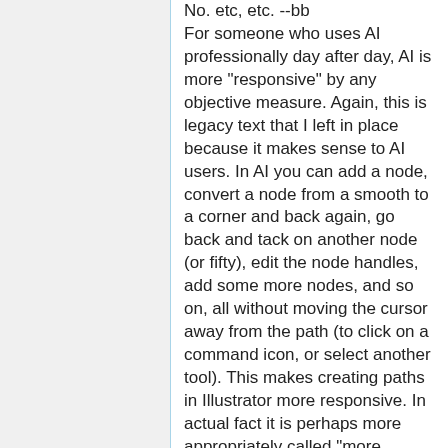No. etc, etc. --bb
For someone who uses AI professionally day after day, AI is more "responsive" by any objective measure. Again, this is legacy text that I left in place because it makes sense to AI users. In AI you can add a node, convert a node from a smooth to a corner and back again, go back and tack on another node (or fifty), edit the node handles, add some more nodes, and so on, all without moving the cursor away from the path (to click on a command icon, or select another tool). This makes creating paths in Illustrator more responsive. In actual fact it is perhaps more appropriately called "more